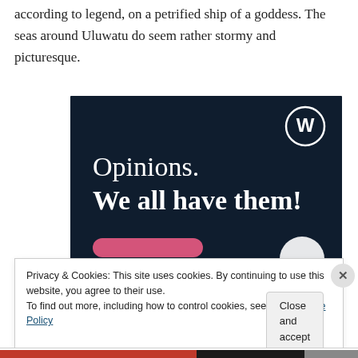according to legend, on a petrified ship of a goddess. The seas around Uluwatu do seem rather stormy and picturesque.
[Figure (illustration): WordPress.com advertisement banner with dark navy background showing WordPress logo (W in circle) at top right. Text reads 'Opinions. We all have them!' in white serif/bold font. Bottom portion shows a pink/red button and a large white circle button.]
Privacy & Cookies: This site uses cookies. By continuing to use this website, you agree to their use.
To find out more, including how to control cookies, see here: Cookie Policy